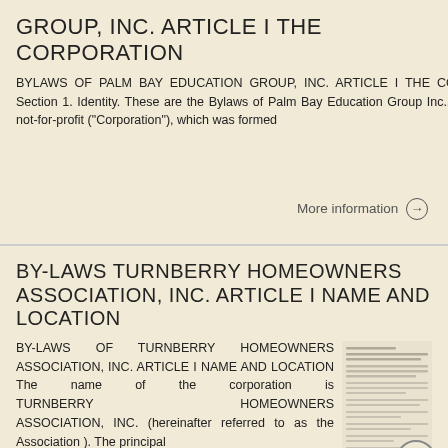GROUP, INC. ARTICLE I THE CORPORATION
BYLAWS OF PALM BAY EDUCATION GROUP, INC. ARTICLE I THE CORPORATION Section 1. Identity. These are the Bylaws of Palm Bay Education Group Inc., a corporation not-for-profit ("Corporation"), which was formed
[Figure (other): Thumbnail of a scanned document page]
More information →
BY-LAWS TURNBERRY HOMEOWNERS ASSOCIATION, INC. ARTICLE I NAME AND LOCATION
BY-LAWS OF TURNBERRY HOMEOWNERS ASSOCIATION, INC. ARTICLE I NAME AND LOCATION The name of the corporation is TURNBERRY HOMEOWNERS ASSOCIATION, INC. (hereinafter referred to as the Association ). The principal
[Figure (other): Thumbnail of a scanned document page]